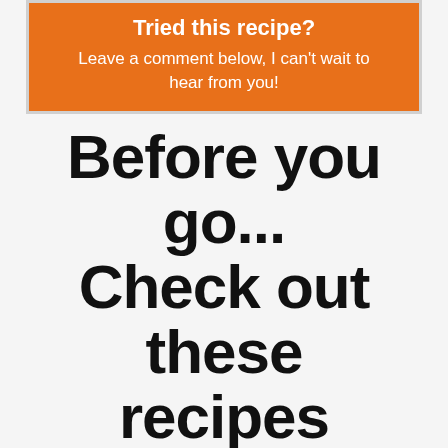Tried this recipe? Leave a comment below, I can't wait to hear from you!
Before you go... Check out these recipes
CABBAGE SAUTEED WITH CHICKEN